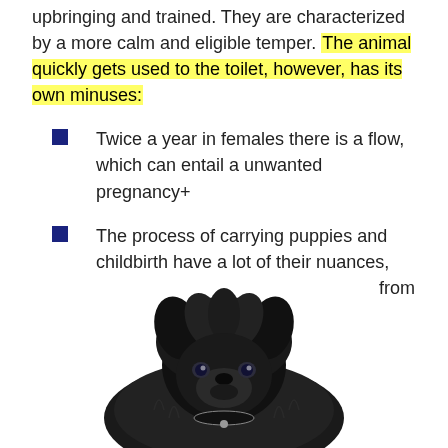upbringing and trained. They are characterized by a more calm and eligible temper. The animal quickly gets used to the toilet, however, has its own minuses:
Twice a year in females there is a flow, which can entail a unwanted pregnancy+
The process of carrying puppies and childbirth have a lot of their nuances, and this will require special worries from the owner.
[Figure (photo): A black fluffy Pomeranian dog lying down and looking up at the camera against a white background.]